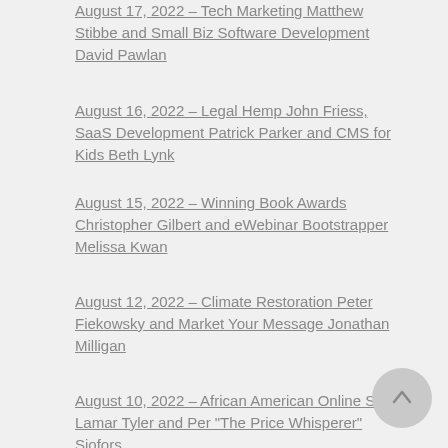August 17, 2022 – Tech Marketing Matthew Stibbe and Small Biz Software Development David Pawlan
August 16, 2022 – Legal Hemp John Friess, SaaS Development Patrick Parker and CMS for Kids Beth Lynk
August 15, 2022 – Winning Book Awards Christopher Gilbert and eWebinar Bootstrapper Melissa Kwan
August 12, 2022 – Climate Restoration Peter Fiekowsky and Market Your Message Jonathan Milligan
August 10, 2022 – African American Online Sales Lamar Tyler and Per "The Price Whisperer" Sjofors